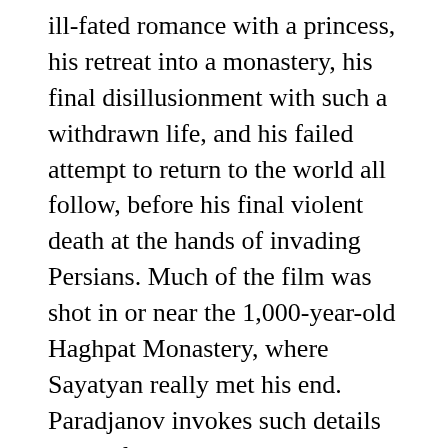ill-fated romance with a princess, his retreat into a monastery, his final disillusionment with such a withdrawn life, and his failed attempt to return to the world all follow, before his final violent death at the hands of invading Persians. Much of the film was shot in or near the 1,000-year-old Haghpat Monastery, where Sayatyan really met his end. Paradjanov invokes such details with a fascinating creative method, relying on the viewer's visual literacy, for instance, ability to infer from a woman's beauteous mode of dress and bearing what her social rank is, and how she holds a veil of embroidery over her face to suggest the barriers of form and propriety that keeps